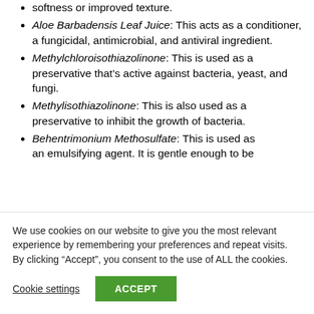softness or improved texture.
Aloe Barbadensis Leaf Juice: This acts as a conditioner, a fungicidal, antimicrobial, and antiviral ingredient.
Methylchloroisothiazolinone: This is used as a preservative that's active against bacteria, yeast, and fungi.
Methylisothiazolinone: This is also used as a preservative to inhibit the growth of bacteria.
Behentrimonium Methosulfate: This is used as an emulsifying agent. It is gentle enough to be
We use cookies on our website to give you the most relevant experience by remembering your preferences and repeat visits. By clicking “Accept”, you consent to the use of ALL the cookies.
Cookie settings   ACCEPT